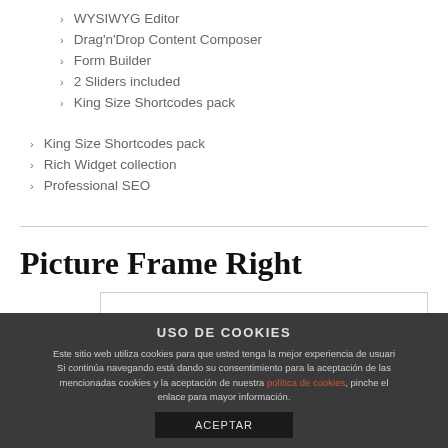WYSIWYG Editor
Drag'n'Drop Content Composer
Form Builder
2 Sliders included
King Size Shortcodes pack
King Size Shortcodes pack
Rich Widget collection
Professional SEO
Picture Frame Right
USO DE COOKIES Este sitio web utiliza cookies para que usted tenga la mejor experiencia de usuario. Si continúa navegando está dando su consentimiento para la aceptación de las mencionadas cookies y la aceptación de nuestra política de cookies, pinche el enlace para mayor información. ACEPTAR